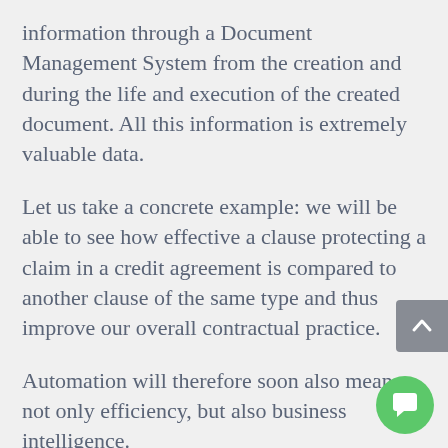information through a Document Management System from the creation and during the life and execution of the created document. All this information is extremely valuable data.
Let us take a concrete example: we will be able to see how effective a clause protecting a claim in a credit agreement is compared to another clause of the same type and thus improve our overall contractual practice.
Automation will therefore soon also mean not only efficiency, but also business intelligence.